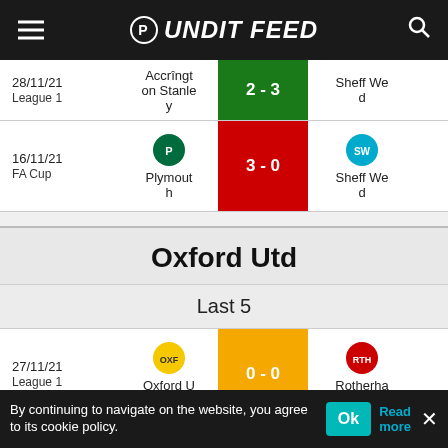Pundit Feed
| Date/Competition | Home | Score | Away |
| --- | --- | --- | --- |
| 28/11/21 League 1 | Accrington Stanley | 2 - 3 | Sheff Wed |
| 16/11/21 FA Cup | Plymouth | 3 - 0 | Sheff Wed |
Oxford Utd
Last 5
| Date/Competition | Home | Score | Away |
| --- | --- | --- | --- |
| 27/11/21 League 1 | Oxford Utd | 0 - 0 | Rotherham |
| 23/11/21 | Oxford U... | 3 - 1 | Fleetwo... |
By continuing to navigate on the website, you agree to its cookie policy.